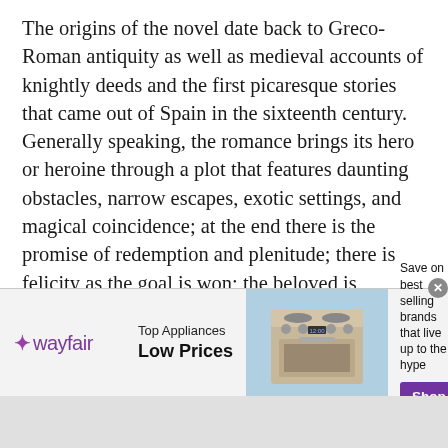The origins of the novel date back to Greco-Roman antiquity as well as medieval accounts of knightly deeds and the first picaresque stories that came out of Spain in the sixteenth century. Generally speaking, the romance brings its hero or heroine through a plot that features daunting obstacles, narrow escapes, exotic settings, and magical coincidence; at the end there is the promise of redemption and plenitude; there is felicity as the goal is won; the beloved is attained, the hero comes home to a harmonious social or natural environment (no more deserts, droughts, floods, or plagues)
In his magisterial analysis of literary genres, Northrop Frye contrasted realism and romance, observing that the former is intellectual in orientation and the latt...
[Figure (other): Wayfair advertisement banner: logo with purple asterisk and 'wayfair' text, 'Top Appliances Low Prices' text, image of kitchen appliances/stove, 'Save on best selling brands that live up to the hype' text, purple 'Shop now' button, close X button]